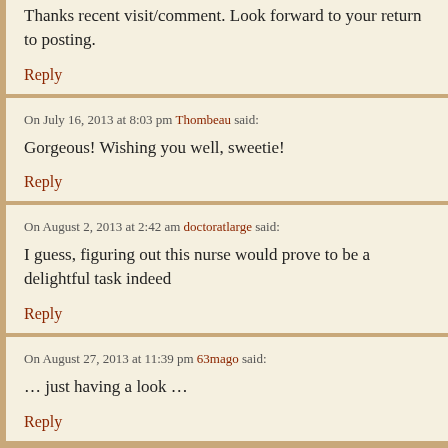Thanks recent visit/comment. Look forward to your return to posting.
Reply
On July 16, 2013 at 8:03 pm Thombeau said:
Gorgeous! Wishing you well, sweetie!
Reply
On August 2, 2013 at 2:42 am doctoratlarge said:
I guess, figuring out this nurse would prove to be a delightful task indeed
Reply
On August 27, 2013 at 11:39 pm 63mago said:
… just having a look …
Reply